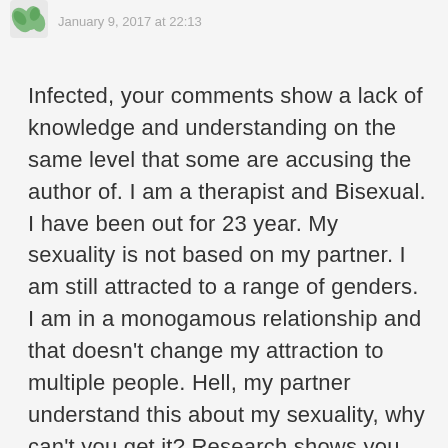January 9, 2017 at 22:13
Infected, your comments show a lack of knowledge and understanding on the same level that some are accusing the author of. I am a therapist and Bisexual. I have been out for 23 year. My sexuality is not based on my partner. I am still attracted to a range of genders. I am in a monogamous relationship and that doesn't change my attraction to multiple people. Hell, my partner understand this about my sexuality, why can't you get it? Research shows you are wrong, that sexuality does not change, so if someone is really bisexual they will still be attracted to other genders, no matter what the gender of their current partner is. Oh wait, are you a part of the group that thinks it has to...